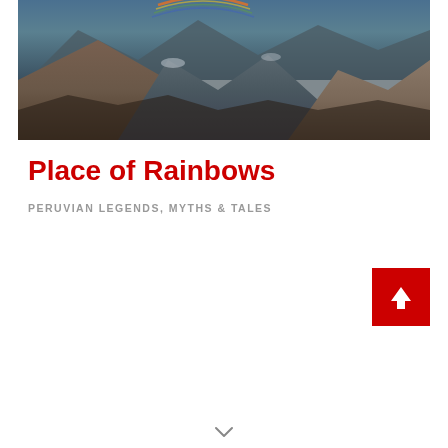[Figure (photo): Mountain landscape photograph showing rocky peaks with snow, dramatic sky with a small rainbow arc visible at top, taken in a highland/Andean setting]
Place of Rainbows
PERUVIAN LEGENDS, MYTHS & TALES
[Figure (other): Red square button with white upward-pointing arrow icon]